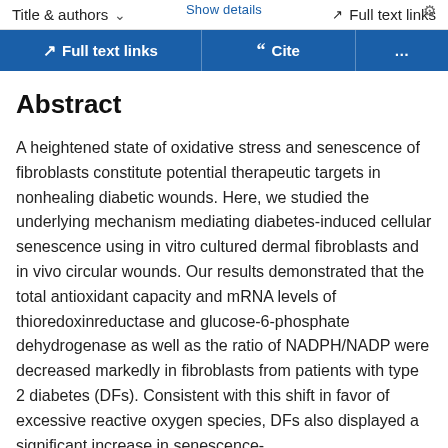Title & authors | Full text links
Full text links | Cite | ...
Abstract
A heightened state of oxidative stress and senescence of fibroblasts constitute potential therapeutic targets in nonhealing diabetic wounds. Here, we studied the underlying mechanism mediating diabetes-induced cellular senescence using in vitro cultured dermal fibroblasts and in vivo circular wounds. Our results demonstrated that the total antioxidant capacity and mRNA levels of thioredoxinreductase and glucose-6-phosphate dehydrogenase as well as the ratio of NADPH/NADP were decreased markedly in fibroblasts from patients with type 2 diabetes (DFs). Consistent with this shift in favor of excessive reactive oxygen species, DFs also displayed a significant increase in senescence-